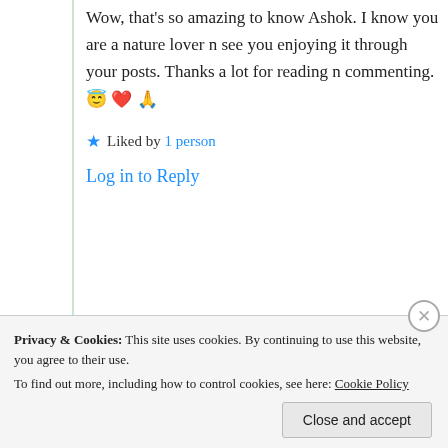Wow, that's so amazing to know Ashok. I know you are a nature lover n see you enjoying it through your posts. Thanks a lot for reading n commenting. 😇 ❤️ 🙏
★ Liked by 1 person
Log in to Reply
[Figure (other): Cookie consent banner with close button and 'Close and accept' button]